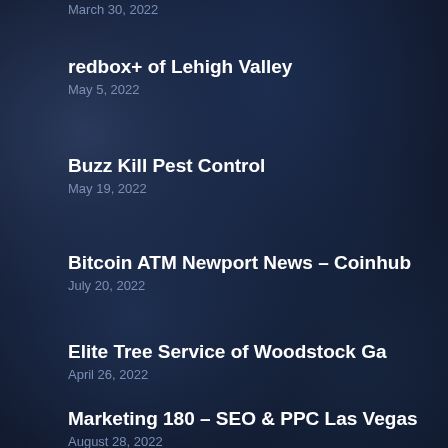March 30, 2022
redbox+ of Lehigh Valley
May 5, 2022
Buzz Kill Pest Control
May 19, 2022
Bitcoin ATM Newport News – Coinhub
July 20, 2022
Elite Tree Service of Woodstock Ga
April 26, 2022
Marketing 180 – SEO & PPC Las Vegas
August 28, 2022